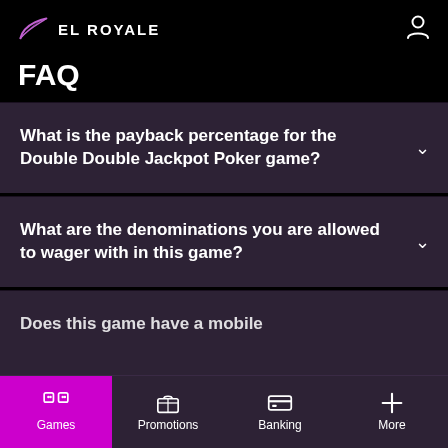EL ROYALE
FAQ
What is the payback percentage for the Double Double Jackpot Poker game?
What are the denominations you are allowed to wager with in this game?
Does this game have a mobile
Games  Promotions  Banking  More